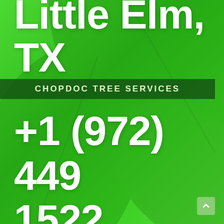[Figure (photo): Green leaf background with bright green gradient overlay]
Little Elm, TX
CHOPDOC TREE SERVICES
+1 (972) 449 1522